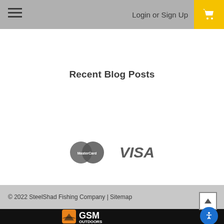Login or Sign Up
Recent Blog Posts
[Figure (logo): MasterCard and Visa payment logos]
© 2022 SteelShad Fishing Company | Sitemap
[Figure (logo): GSM Outdoors logo on black background]